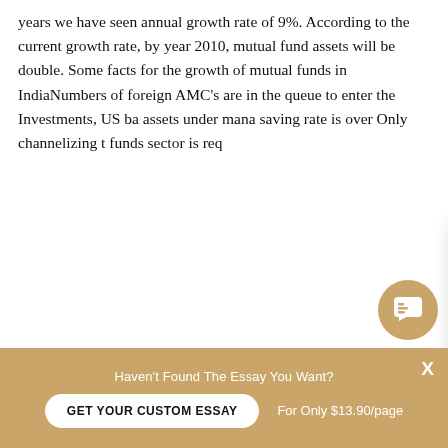years we have seen annual growth rate of 9%. According to the current growth rate, by year 2010, mutual fund assets will be double. Some facts for the growth of mutual funds in IndiaNumbers of foreign AMC's are in the queue to enter the Investments, US ba assets under mana saving rate is over Only channelizing t funds sector is req
We have approxima which is much less 800. There is a big and 'C' class cities most of the mutual funds are concentrating on the 'A' class cities.
[Figure (screenshot): Chat popup overlay with avatar photo of a young man smiling, tan/gold header with text 'Hi! I'm Piter!', white body with bold text 'Would you like to get a custom essay? How about receiving a customized one?' and underlined bold link 'Check it out'. An X close button in the top right corner.]
[Figure (screenshot): Chat bubble icon button (message/speech bubble icon) in gold/tan circle, bottom right area]
Haven't Found The Essay You Want?
GET YOUR CUSTOM ESSAY
For Only $13.90/page